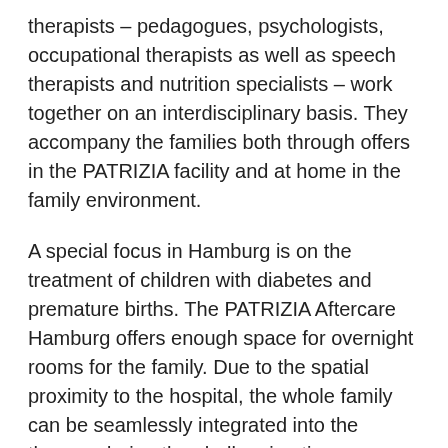therapists – pedagogues, psychologists, occupational therapists as well as speech therapists and nutrition specialists – work together on an interdisciplinary basis. They accompany the families both through offers in the PATRIZIA facility and at home in the family environment.
A special focus in Hamburg is on the treatment of children with diabetes and premature births. The PATRIZIA Aftercare Hamburg offers enough space for overnight rooms for the family. Due to the spatial proximity to the hospital, the whole family can be seamlessly integrated into the therapy during the challenging time.
See the video of the project. Read also Ole's